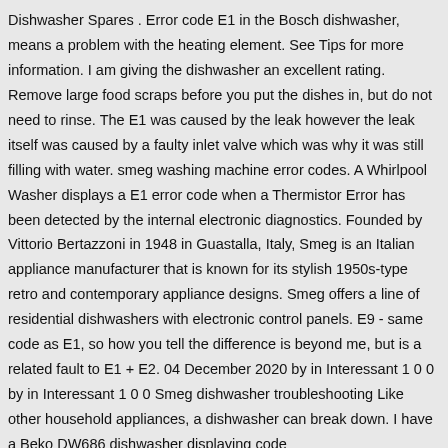Dishwasher Spares . Error code E1 in the Bosch dishwasher, means a problem with the heating element. See Tips for more information. I am giving the dishwasher an excellent rating. Remove large food scraps before you put the dishes in, but do not need to rinse. The E1 was caused by the leak however the leak itself was caused by a faulty inlet valve which was why it was still filling with water. smeg washing machine error codes. A Whirlpool Washer displays a E1 error code when a Thermistor Error has been detected by the internal electronic diagnostics. Founded by Vittorio Bertazzoni in 1948 in Guastalla, Italy, Smeg is an Italian appliance manufacturer that is known for its stylish 1950s-type retro and contemporary appliance designs. Smeg offers a line of residential dishwashers with electronic control panels. E9 - same code as E1, so how you tell the difference is beyond me, but is a related fault to E1 + E2. 04 December 2020 by in Interessant 1 0 0 by in Interessant 1 0 0 Smeg dishwasher troubleshooting Like other household appliances, a dishwasher can break down. I have a Beko DW686 dishwasher displaying code